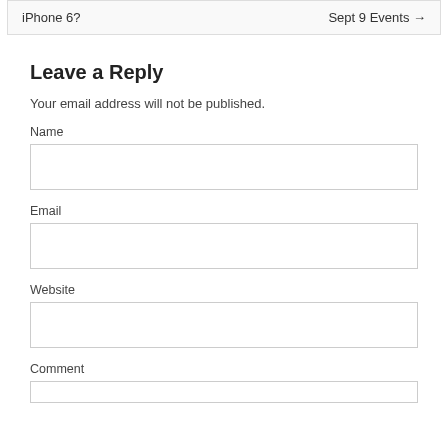iPhone 6?    Sept 9 Events →
Leave a Reply
Your email address will not be published.
Name
Email
Website
Comment